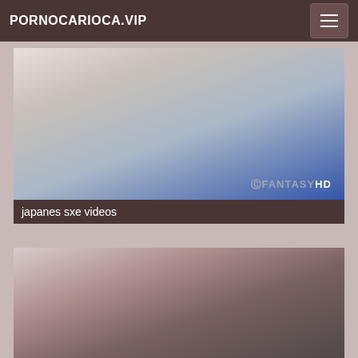PORNOCARIOCA.VIP
[Figure (screenshot): Video thumbnail showing two people exercising, with FantasyHD watermark]
japanes sxe videos
[Figure (screenshot): Video thumbnail showing explicit adult content]